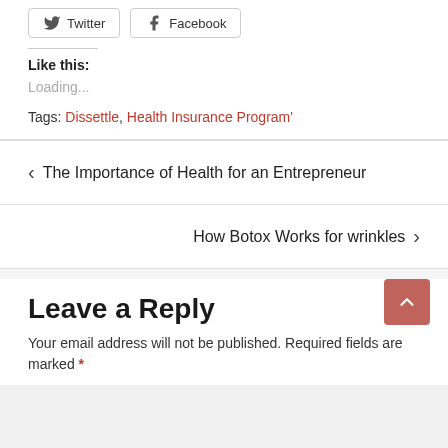[Figure (other): Twitter and Facebook share buttons]
Like this:
Loading...
Tags: Dissettle, Health Insurance Program'
< The Importance of Health for an Entrepreneur
How Botox Works for wrinkles >
Leave a Reply
Your email address will not be published. Required fields are marked *